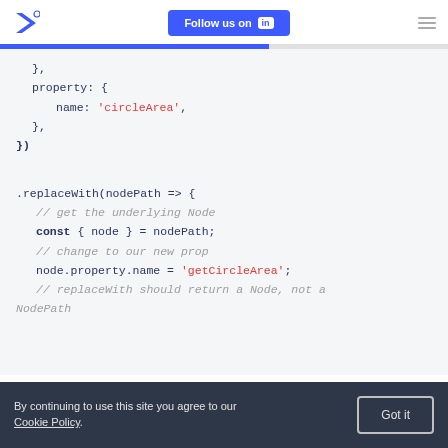Follow us on LinkedIn
[Figure (screenshot): Code snippet showing JavaScript AST transformation with replaceWith and property renaming from 'circleArea' to 'getCircleArea']
By continuing to use this site you agree to our Cookie Policy. Got it